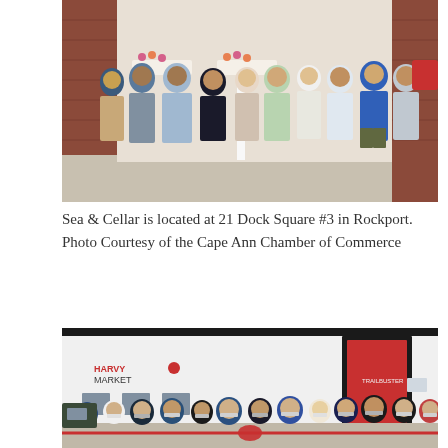[Figure (photo): Group of people standing in front of a brick building storefront on a sunny day, some wearing masks, for a ribbon cutting or grand opening event.]
Sea & Cellar is located at 21 Dock Square #3 in Rockport. Photo Courtesy of the Cape Ann Chamber of Commerce
[Figure (photo): Crowd of people wearing masks gathered outside a modern white building with a red door for a ribbon cutting ceremony, with a red ribbon in the foreground.]